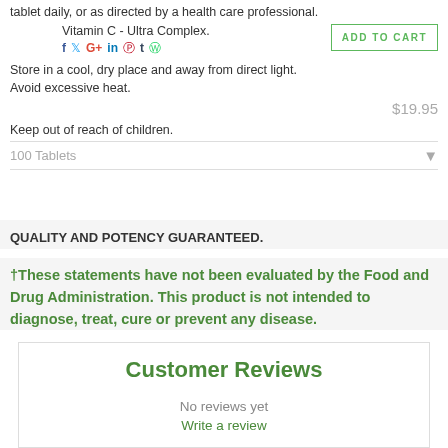tablet daily, or as directed by a health care professional.
Vitamin C - Ultra Complex.
Store in a cool, dry place and away from direct light. Avoid excessive heat.
$19.95
Keep out of reach of children.
100 Tablets
QUALITY AND POTENCY GUARANTEED.
†These statements have not been evaluated by the Food and Drug Administration. This product is not intended to diagnose, treat, cure or prevent any disease.
Customer Reviews
No reviews yet
Write a review